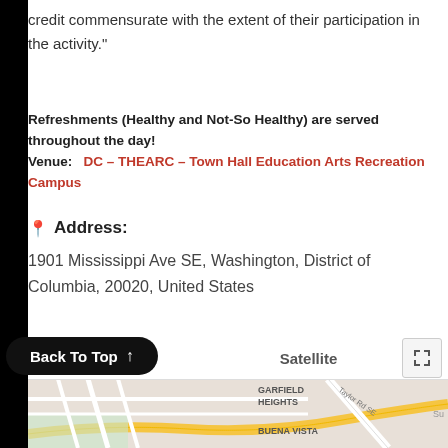credit commensurate with the extent of their participation in the activity."
Refreshments (Healthy and Not-So Healthy) are served throughout the day!
Venue:   DC – THEARC – Town Hall Education Arts Recreation Campus
Address:
1901 Mississippi Ave SE, Washington, District of Columbia, 20020, United States
Back To Top ↑
[Figure (map): Google Maps view showing GARFIELD HEIGHTS neighborhood, BUENA VISTA label, Taylor Rd SE street, Map/Satellite toggle controls, and expand icon. Partial street map with roads visible.]